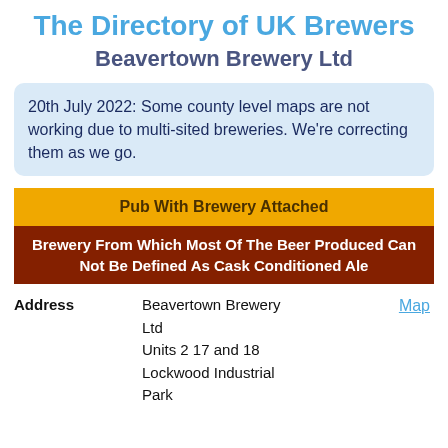The Directory of UK Brewers
Beavertown Brewery Ltd
20th July 2022: Some county level maps are not working due to multi-sited breweries. We're correcting them as we go.
Pub With Brewery Attached
Brewery From Which Most Of The Beer Produced Can Not Be Defined As Cask Conditioned Ale
| Field | Value |
| --- | --- |
| Address | Beavertown Brewery Ltd
Units 2 17 and 18
Lockwood Industrial Park |